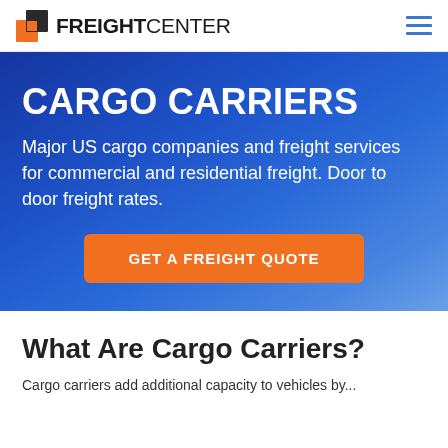FreightCenter — navigation header with logo and hamburger menu
CARGO CARRIERS
Major US cargo companies and freight services for commercial and residential freight. Door to door freight rates.
GET A FREIGHT QUOTE
What Are Cargo Carriers?
Cargo carriers add additional capacity to vehicles by...